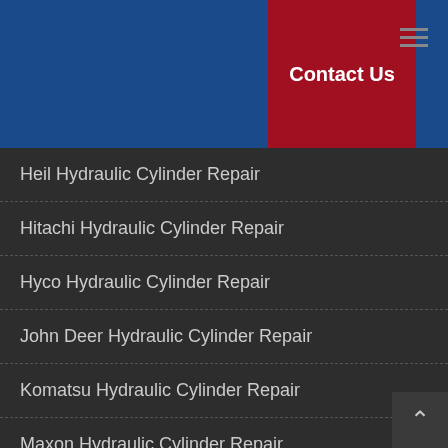Contact Us
Heil Hydraulic Cylinder Repair
Hitachi Hydraulic Cylinder Repair
Hyco Hydraulic Cylinder Repair
John Deer Hydraulic Cylinder Repair
Komatsu Hydraulic Cylinder Repair
Maxon Hydraulic Cylinder Repair
Mitsubishi Hydraulic Cylinder Repair
Massey Hydraulic Cylinder Repair
Parker Hannifin Hydraulic Cylinder Repair